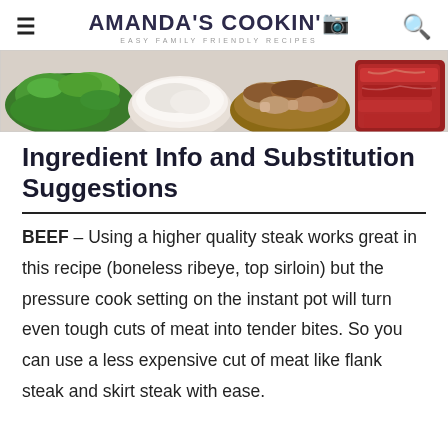AMANDA'S COOKIN' — EASY FAMILY FRIENDLY RECIPES
[Figure (photo): Overhead photo showing bowls of fresh ingredients including parsley, cream/cheese, mushrooms, and raw beef strips on a light background.]
Ingredient Info and Substitution Suggestions
BEEF – Using a higher quality steak works great in this recipe (boneless ribeye, top sirloin) but the pressure cook setting on the instant pot will turn even tough cuts of meat into tender bites. So you can use a less expensive cut of meat like flank steak and skirt steak with ease.